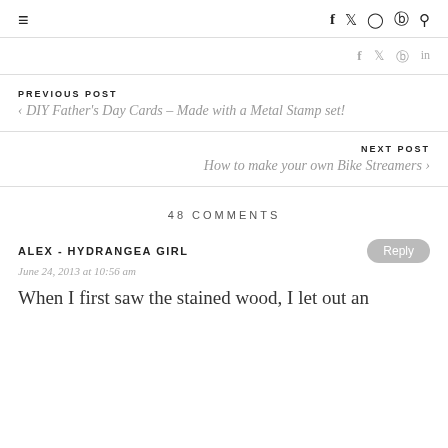≡  f  𝕏  ◎  ⓟ  🔍
f  𝕏  ⓟ  in
PREVIOUS POST
< DIY Father's Day Cards – Made with a Metal Stamp set!
NEXT POST
How to make your own Bike Streamers >
48 COMMENTS
ALEX - HYDRANGEA GIRL
June 24, 2013 at 10:56 am
When I first saw the stained wood, I let out an